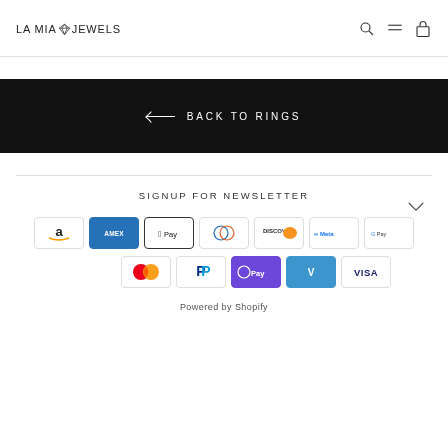LA MIA JEWELS
← BACK TO RINGS
SIGNUP FOR NEWSLETTER
[Figure (other): Payment method icons: Amazon Pay, Amex, Apple Pay, Diners Club, Discover, Meta Pay, Google Pay, Mastercard, PayPal, OPay, Venmo, Visa]
Powered by Shopify